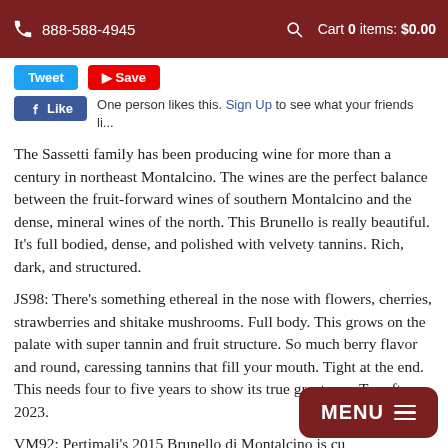888-588-4945  Cart 0 items: $0.00
[Figure (screenshot): Social sharing buttons: Twitter and Pinterest buttons]
[Figure (screenshot): Facebook Like button with text: One person likes this. Sign Up to see what your friends like...]
The Sassetti family has been producing wine for more than a century in northeast Montalcino. The wines are the perfect balance between the fruit-forward wines of southern Montalcino and the dense, mineral wines of the north. This Brunello is really beautiful. It's full bodied, dense, and polished with velvety tannins. Rich, dark, and structured.
JS98: There's something ethereal in the nose with flowers, cherries, strawberries and shitake mushrooms. Full body. This grows on the palate with super tannin and fruit structure. So much berry flavor and round, caressing tannins that fill your mouth. Tight at the end. This needs four to five years to show its true greatness. Try after 2023.
VM92: Pertimali's 2015 Brunello di Montalcino is cu... understated and youthfully poised, as peppery herbs... young strawberry, with crushed stone minerality and earth tones. On